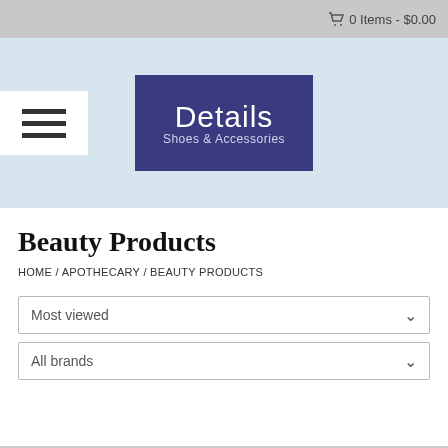0 Items - $0.00
[Figure (logo): Details Shoes & Accessories logo — white text on dark blue/navy rectangle]
Beauty Products
HOME / APOTHECARY / BEAUTY PRODUCTS
Most viewed
All brands